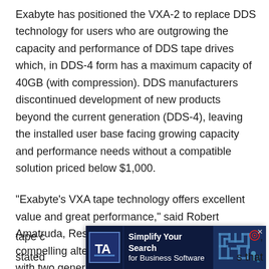Exabyte has positioned the VXA-2 to replace DDS technology for users who are outgrowing the capacity and performance of DDS tape drives which, in DDS-4 form has a maximum capacity of 40GB (with compression). DDS manufacturers discontinued development of new products beyond the current generation (DDS-4), leaving the installed user base facing growing capacity and performance needs without a compatible solution priced below $1,000.
“Exabyte’s VXA tape technology offers excellent value and great performance,” said Robert Amatruda, Research Manager at IDC. “VXA is a compelling alternative to DDS tape technology with two generations selling below $1,000.”
Commenting on the competitive pricing of the drives and tape c[ad overlay]...,stated[ad overlay]...s that
[Figure (other): Advertisement banner: 'Simplify Your Search for Business Software' with logo showing 'TA' letters and a maze/puzzle graphic with a red target dot. Close button (x) in top right corner.]